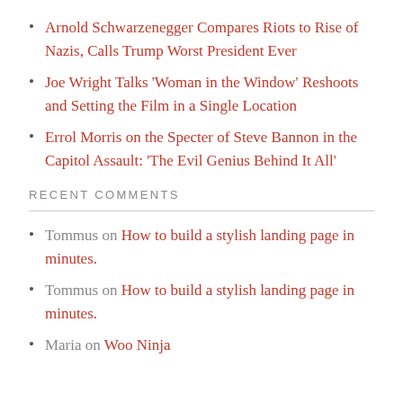Arnold Schwarzenegger Compares Riots to Rise of Nazis, Calls Trump Worst President Ever
Joe Wright Talks ‘Woman in the Window’ Reshoots and Setting the Film in a Single Location
Errol Morris on the Specter of Steve Bannon in the Capitol Assault: ‘The Evil Genius Behind It All’
RECENT COMMENTS
Tommus on How to build a stylish landing page in minutes.
Tommus on How to build a stylish landing page in minutes.
Maria on Woo Ninja